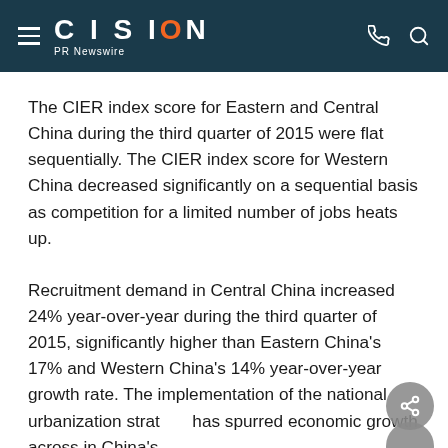CISION PR Newswire
The CIER index score for Eastern and Central China during the third quarter of 2015 were flat sequentially. The CIER index score for Western China decreased significantly on a sequential basis as competition for a limited number of jobs heats up.
Recruitment demand in Central China increased 24% year-over-year during the third quarter of 2015, significantly higher than Eastern China's 17% and Western China's 14% year-over-year growth rate. The implementation of the national urbanization strategy has spurred economic growth across in China's